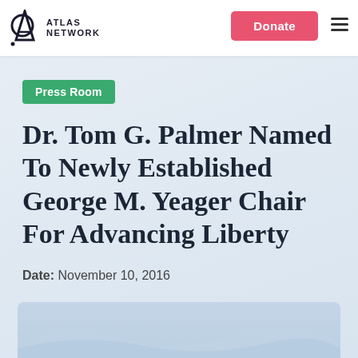ATLAS NETWORK
Press Room
Dr. Tom G. Palmer Named To Newly Established George M. Yeager Chair For Advancing Liberty
Date: November 10, 2016